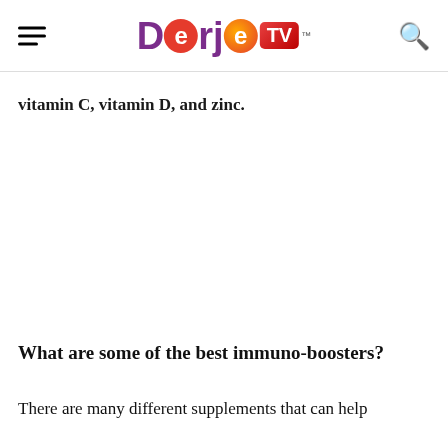Dorje TV
vitamin C, vitamin D, and zinc.
What are some of the best immuno-boosters?
There are many different supplements that can help